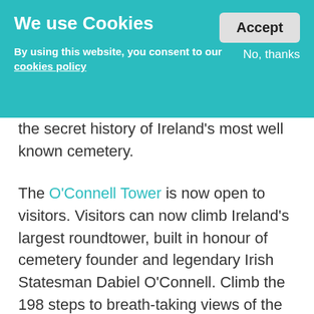We use Cookies
By using this website, you consent to our cookies policy
Accept
No, thanks
the secret history of Ireland’s most well known cemetery.
The O’Connell Tower is now open to visitors. Visitors can now climb Ireland's largest roundtower, built in honour of cemetery founder and legendary Irish Statesman Dabiel O’Connell. Climb the 198 steps to breath-taking views of the sprawling cemetery, Dublin, Wicklow and the Irish Sea.
Tour tickets include entry into the exhibitions in Glasnevin Cemetery Museum.